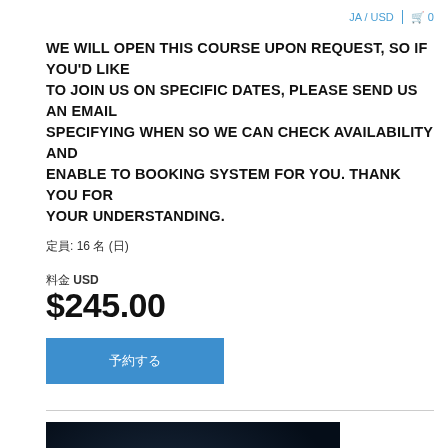JA / USD  🛒 0
WE WILL OPEN THIS COURSE UPON REQUEST, SO IF YOU'D LIKE TO JOIN US ON SPECIFIC DATES, PLEASE SEND US AN EMAIL SPECIFYING WHEN SO WE CAN CHECK AVAILABILITY AND ENABLE TO BOOKING SYSTEM FOR YOU. THANK YOU FOR YOUR UNDERSTANDING.
定員: 16 名 (日)
料金 USD
$245.00
予約する
[Figure (photo): Scuba diver in dark water wearing wetsuit and carrying a silver tank, photographed from above in low-light conditions]